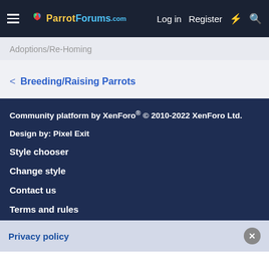ParrotForums.com  Log in  Register
Adoptions/Re-Homing
< Breeding/Raising Parrots
Community platform by XenForo® © 2010-2022 XenForo Ltd.
Design by: Pixel Exit
Style chooser
Change style
Contact us
Terms and rules
Privacy policy